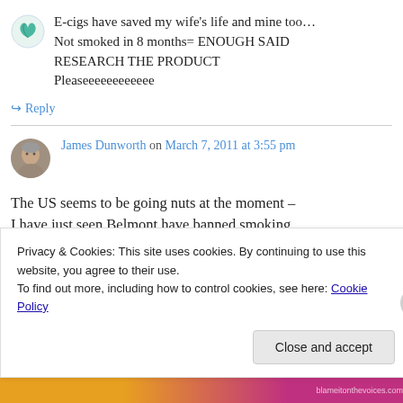[Figure (illustration): Small teal/green avatar icon at top left]
E-cigs have saved my wife's life and mine too… Not smoked in 8 months= ENOUGH SAID RESEARCH THE PRODUCT Pleaseeeeeeeeee
↳ Reply
[Figure (photo): Round avatar photo of James Dunworth, a man with grey hair]
James Dunworth on March 7, 2011 at 3:55 pm
The US seems to be going nuts at the moment – I have just seen Belmont have banned smoking
Privacy & Cookies: This site uses cookies. By continuing to use this website, you agree to their use.
To find out more, including how to control cookies, see here: Cookie Policy
Close and accept